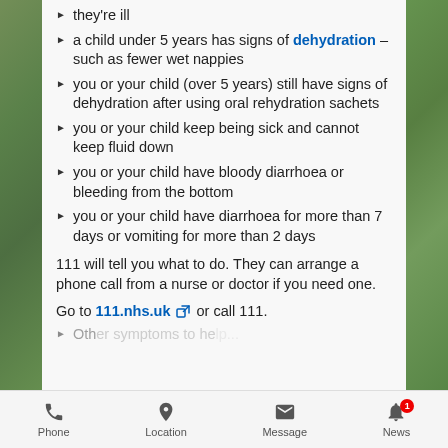they're ill
a child under 5 years has signs of dehydration – such as fewer wet nappies
you or your child (over 5 years) still have signs of dehydration after using oral rehydration sachets
you or your child keep being sick and cannot keep fluid down
you or your child have bloody diarrhoea or bleeding from the bottom
you or your child have diarrhoea for more than 7 days or vomiting for more than 2 days
111 will tell you what to do. They can arrange a phone call from a nurse or doctor if you need one.
Go to 111.nhs.uk or call 111.
Other symptoms to help...
Phone | Location | Message | News